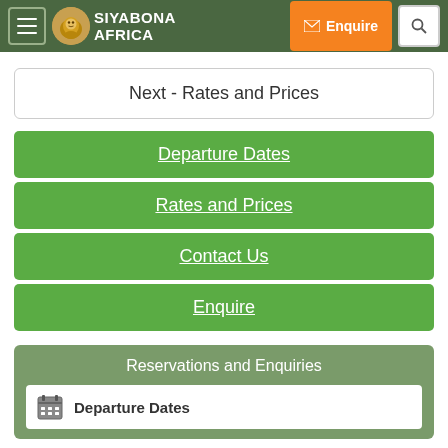Siyabona Africa — Navigation header with hamburger menu, logo, Enquire button, and search
Next - Rates and Prices
Departure Dates
Rates and Prices
Contact Us
Enquire
Reservations and Enquiries
Departure Dates